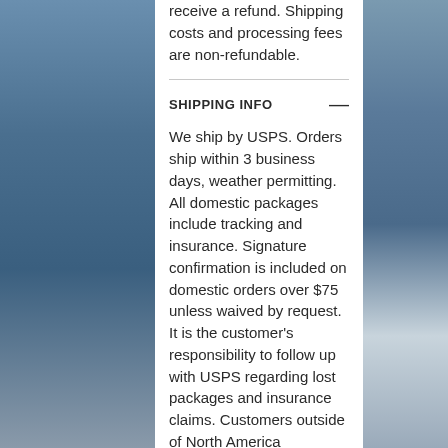receive a refund. Shipping costs and processing fees are non-refundable.
SHIPPING INFO
We ship by USPS. Orders ship within 3 business days, weather permitting. All domestic packages include tracking and insurance. Signature confirmation is included on domestic orders over $75 unless waived by request. It is the customer's responsibility to follow up with USPS regarding lost packages and insurance claims. Customers outside of North America